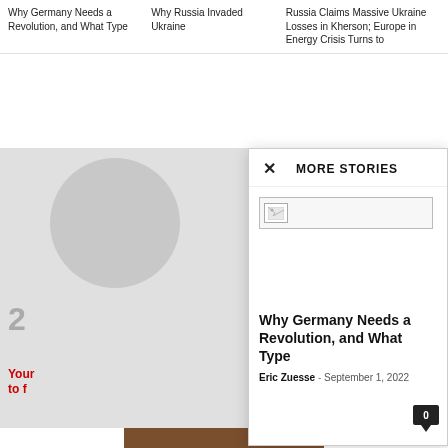Why Germany Needs a Revolution, and What Type
Why Russia Invaded Ukraine
Russia Claims Massive Ukraine Losses in Kherson; Europe in Energy Crisis Turns to
× MORE STORIES
[Figure (screenshot): Broken image placeholder icon in a bordered box]
Why Germany Needs a Revolution, and What Type
Eric Zuesse - September 1, 2022
[Figure (photo): Left sidebar showing a circular graphic on gray background with number 2 and red text 'Your' and 'to f']
[Figure (photo): Bottom advertisement banner reading LICENSED TO LIE on brown/tan background]